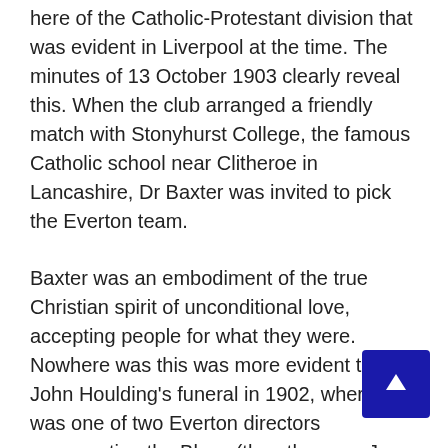...those colleagues at Everton. There were no signs here of the Catholic-Protestant division that was evident in Liverpool at the time. The minutes of 13 October 1903 clearly reveal this. When the club arranged a friendly match with Stonyhurst College, the famous Catholic school near Clitheroe in Lancashire, Dr Baxter was invited to pick the Everton team.
Baxter was an embodiment of the true Christian spirit of unconditional love, accepting people for what they were. Nowhere was this was more evident than at John Houlding's funeral in 1902, where he was one of two Everton directors representing the Blues (the other was J. Coates). This was a remarkable gesture of forgiveness and reconciliation. Baxter and Houlding were on opposite sides during the split, they were of different political persuasions (Baxter was a Liberal, Houlding a Conservative) and Houlding was a prominent member of the Orange Order. Baxter had a